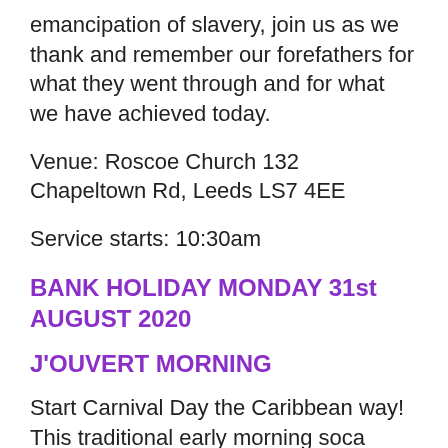emancipation of slavery, join us as we thank and remember our forefathers for what they went through and for what we have achieved today.
Venue: Roscoe Church 132 Chapeltown Rd, Leeds LS7 4EE
Service starts: 10:30am
BANK HOLIDAY MONDAY 31st AUGUST 2020
J'OUVERT MORNING
Start Carnival Day the Caribbean way! This traditional early morning soca